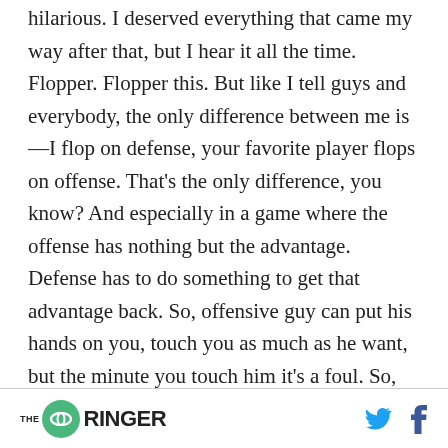hilarious. I deserved everything that came my way after that, but I hear it all the time. Flopper. Flopper this. But like I tell guys and everybody, the only difference between me is—I flop on defense, your favorite player flops on offense. That's the only difference, you know? And especially in a game where the offense has nothing but the advantage. Defense has to do something to get that advantage back. So, offensive guy can put his hands on you, touch you as much as he want, but the minute you touch him it's a foul. So, you got to draw the attention to the officials to let
THE RINGER